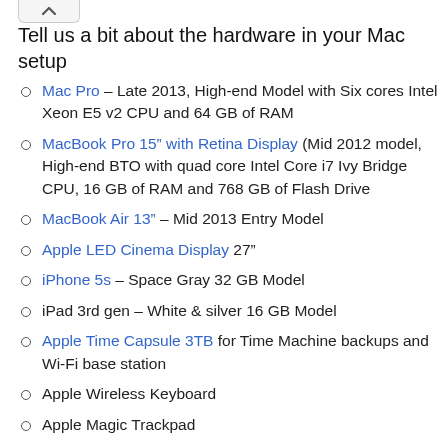Tell us a bit about the hardware in your Mac setup
Mac Pro – Late 2013, High-end Model with Six cores Intel Xeon E5 v2 CPU and 64 GB of RAM
MacBook Pro 15″ with Retina Display (Mid 2012 model, High-end BTO with quad core Intel Core i7 Ivy Bridge CPU, 16 GB of RAM and 768 GB of Flash Drive
MacBook Air 13″ – Mid 2013 Entry Model
Apple LED Cinema Display 27″
iPhone 5s – Space Gray 32 GB Model
iPad 3rd gen – White & silver 16 GB Model
Apple Time Capsule 3TB for Time Machine backups and Wi-Fi base station
Apple Wireless Keyboard
Apple Magic Trackpad